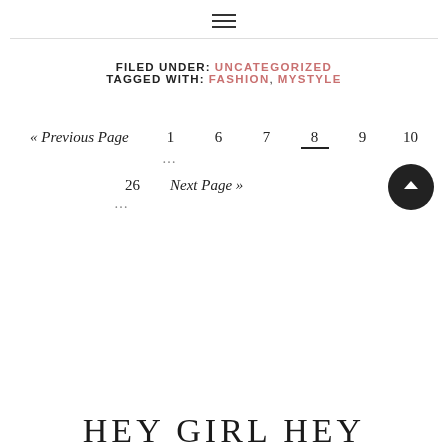≡ (hamburger menu icon)
FILED UNDER: UNCATEGORIZED
TAGGED WITH: FASHION, MYSTYLE
« Previous Page   1   …   6   7   8   9   10
…   26   Next Page »
…
HEY GIRL HEY